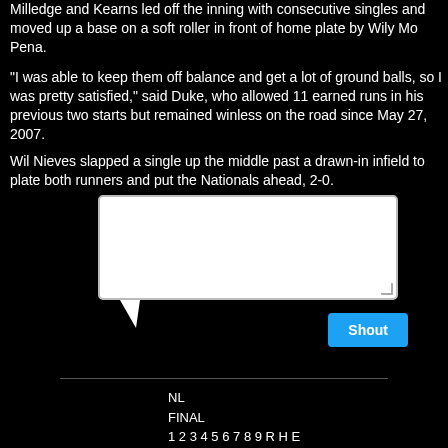Milledge and Kearns led off the inning with consecutive singles and moved up a base on a soft roller in front of home plate by Wily Mo Pena.
"I was able to keep them off balance and get a lot of ground balls, so I was pretty satisfied," said Duke, who allowed 11 earned runs in his previous two starts but remained winless on the road since May 27, 2007.
Wil Nieves slapped a single up the middle past a drawn-in infield to plate both runners and put the Nationals ahead, 2-0.
[Figure (screenshot): A comment box UI with a white text area, a speech bubble tail at the bottom left, and a blue 'Shout' button at the bottom right.]
NL
FINAL
1 2 3 4 5 6 7 8 9 R H E